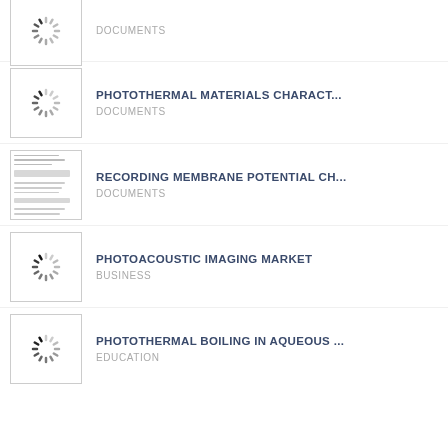[Figure (screenshot): Loading spinner thumbnail, first item]
DOCUMENTS
[Figure (screenshot): Loading spinner thumbnail, PHOTOTHERMAL MATERIALS CHARACT...]
PHOTOTHERMAL MATERIALS CHARACT...
DOCUMENTS
[Figure (screenshot): Document preview thumbnail for RECORDING MEMBRANE POTENTIAL CH...]
RECORDING MEMBRANE POTENTIAL CH...
DOCUMENTS
[Figure (screenshot): Loading spinner thumbnail for PHOTOACOUSTIC IMAGING MARKET]
PHOTOACOUSTIC IMAGING MARKET
BUSINESS
[Figure (screenshot): Loading spinner thumbnail for PHOTOTHERMAL BOILING IN AQUEOUS ...]
PHOTOTHERMAL BOILING IN AQUEOUS ...
EDUCATION